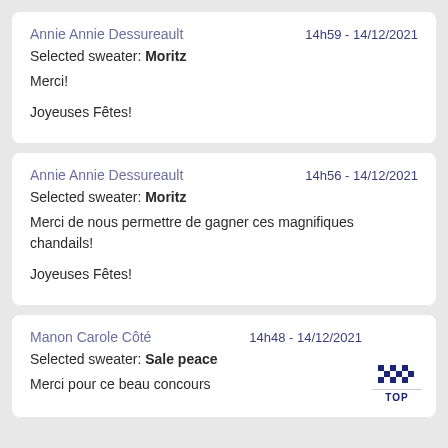Annie Annie Dessureault   14h59 - 14/12/2021
Selected sweater: Moritz
Merci!

Joyeuses Fêtes!
Annie Annie Dessureault   14h56 - 14/12/2021
Selected sweater: Moritz
Merci de nous permettre de gagner ces magnifiques chandails!

Joyeuses Fêtes!
Manon Carole Côté   14h48 - 14/12/2021
Selected sweater: Sale peace
Merci pour ce beau concours